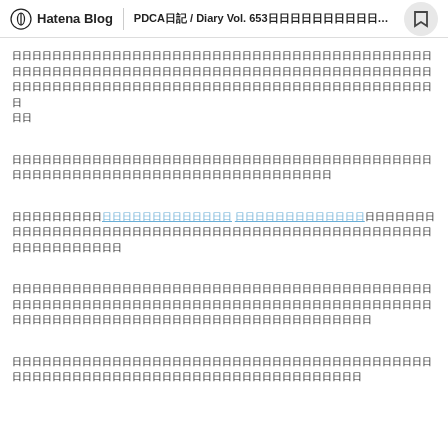Hatena Blog  PDCA日記 / Diary Vol. 653□□□□□□□□□□□□□□□/...
□□□□□□□□□□□□□□□□□□□□□□□□□□□□□□□□□□□□□□□□□□□□□□□□□□□□□□□□□□□□□□□□□□□□□□□□□□□□□□□□□□□□□□□□□□□□□□□□□□□□□□□□□□□□□□□□□□□□□□□□□□□□□□
□□□□□□□□□□□□□□□□□□□□□□□□□□□□□□□□□□□□□□□□□□□□□□□□□□□□□□□□□□□□□□□□□□□□□□□□□□
□□□□□□□□□□□□□□□□□□□□□□□□□□□□□□□□□□□□□□□□□□□□□□□□□□□□□□□□□□□□□□□□□□□□□□□□□□□□□□□□□□□□□□□□□□□□□□□□□□□□□□
□□□□□□□□□□□□□□□□□□□□□□□□□□□□□□□□□□□□□□□□□□□□□□□□□□□□□□□□□□□□□□□□□□□□□□□□□□□□□□□□□□□□□□□□□□□□□□□□□□□□□□□□□□□□□□□□□□□□□□□□□□□□
□□□□□□□□□□□□□□□□□□□□□□□□□□□□□□□□□□□□□□□□□□□□□□□□□□□□□□□□□□□□□□□□□□□□□□□□□□□□